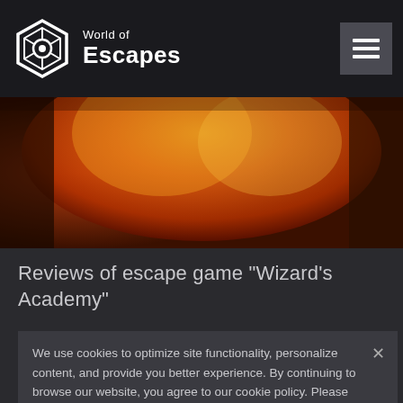World of Escapes
[Figure (photo): Fantasy/fire themed hero image with warm orange and golden tones, appears to be game artwork]
Reviews of escape game "Wizard's Academy"
We use cookies to optimize site functionality, personalize content, and provide you better experience. By continuing to browse our website, you agree to our cookie policy. Please read our full privacy statement.